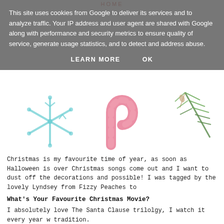HOME
This site uses cookies from Google to deliver its services and to analyze traffic. Your IP address and user agent are shared with Google along with performance and security metrics to ensure quality of service, generate usage statistics, and to detect and address abuse.
LEARN MORE    OK
[Figure (illustration): Watercolor Christmas illustrations: a teal snowflake on the left, a pink candy cane in the center, and green pine/fir branches on the right]
Christmas is my favourite time of year, as soon as Halloween is over Christmas songs come out and I want to dust off the decorations and possible! I was tagged by the lovely Lyndsey from Fizzy Peaches to
What's Your Favourite Christmas Movie?
I absolutely love The Santa Clause trilolgy, I watch it every year w tradition.
Have You Ever Had A White Christmas?